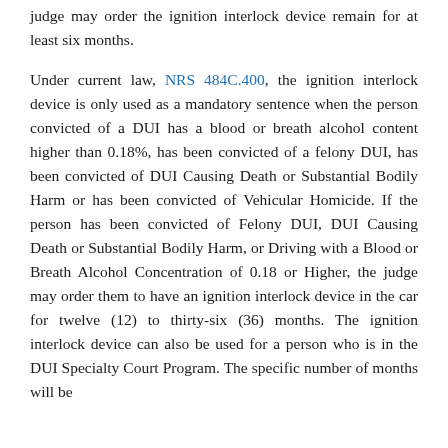judge may order the ignition interlock device remain for at least six months.
Under current law, NRS 484C.400, the ignition interlock device is only used as a mandatory sentence when the person convicted of a DUI has a blood or breath alcohol content higher than 0.18%, has been convicted of a felony DUI, has been convicted of DUI Causing Death or Substantial Bodily Harm or has been convicted of Vehicular Homicide. If the person has been convicted of Felony DUI, DUI Causing Death or Substantial Bodily Harm, or Driving with a Blood or Breath Alcohol Concentration of 0.18 or Higher, the judge may order them to have an ignition interlock device in the car for twelve (12) to thirty-six (36) months. The ignition interlock device can also be used for a person who is in the DUI Specialty Court Program. The specific number of months will be